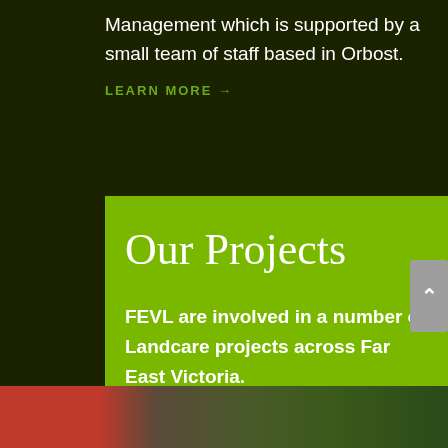Management which is supported by a small team of staff based in Orbost.
LEARN MORE →
Our Projects
FEVL are involved in a number of Landcare projects across Far East Victoria.
LEARN MORE →
[Figure (photo): Bottom image showing red and green landscape colours]